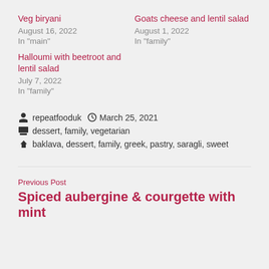Veg biryani
August 16, 2022
In "main"
Goats cheese and lentil salad
August 1, 2022
In "family"
Halloumi with beetroot and lentil salad
July 7, 2022
In "family"
repeatfooduk   March 25, 2021
dessert, family, vegetarian
baklava, dessert, family, greek, pastry, saragli, sweet
Previous Post
Spiced aubergine & courgette with mint